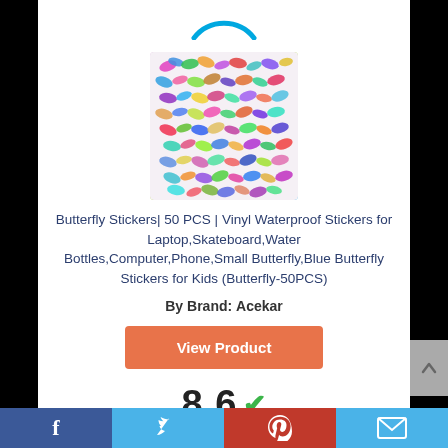[Figure (logo): Partial Amazon logo (blue arc/circle) at top]
[Figure (photo): Product image showing a sheet of colorful butterfly stickers, 50 pieces, various colors]
Butterfly Stickers| 50 PCS | Vinyl Waterproof Stickers for Laptop,Skateboard,Water Bottles,Computer,Phone,Small Butterfly,Blue Butterfly Stickers for Kids (Butterfly-50PCS)
By Brand: Acekar
View Product
8.6 ✓
Facebook | Twitter | Pinterest | Email social share bar